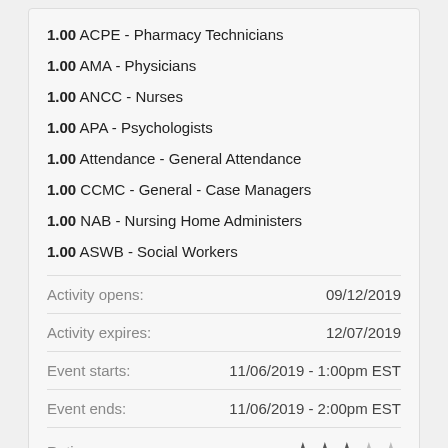1.00 ACPE - Pharmacy Technicians
1.00 AMA - Physicians
1.00 ANCC - Nurses
1.00 APA - Psychologists
1.00 Attendance - General Attendance
1.00 CCMC - General - Case Managers
1.00 NAB - Nursing Home Administers
1.00 ASWB - Social Workers
Activity opens: 09/12/2019
Activity expires: 12/07/2019
Event starts: 11/06/2019 - 1:00pm EST
Event ends: 11/06/2019 - 2:00pm EST
Rating: 3 out of 5 stars
Activity description